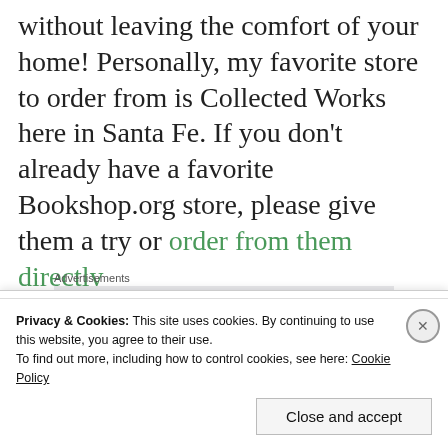without leaving the comfort of your home! Personally, my favorite store to order from is Collected Works here in Santa Fe. If you don't already have a favorite Bookshop.org store, please give them a try or order from them directly
Advertisements
[Figure (other): Advertisement box showing partial text 'Build a writing']
Privacy & Cookies: This site uses cookies. By continuing to use this website, you agree to their use. To find out more, including how to control cookies, see here: Cookie Policy
Close and accept